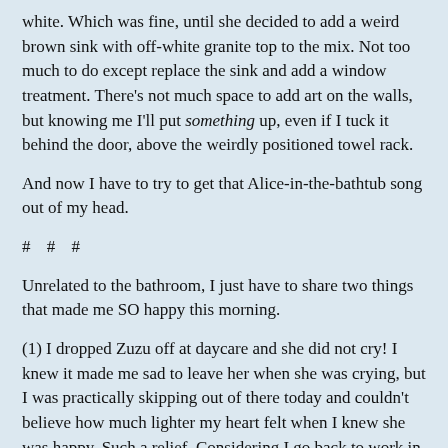white.  Which was fine, until she decided to add a weird brown sink with off-white granite top to the mix.  Not too much to do except replace the sink and add a window treatment.  There's not much space to add art on the walls, but knowing me I'll put something up, even if I tuck it behind the door, above the weirdly positioned towel rack.
And now I have to try to get that Alice-in-the-bathtub song out of my head.
# # #
Unrelated to the bathroom, I just have to share two things that made me SO happy this morning.
(1) I dropped Zuzu off at daycare and she did not cry!  I knew it made me sad to leave her when she was crying, but I was practically skipping out of there today and couldn't believe how much lighter my heart felt when I knew she was happy.  Such a relief.  Considering I go back to work in 20 days (gasp!), I really needed this.